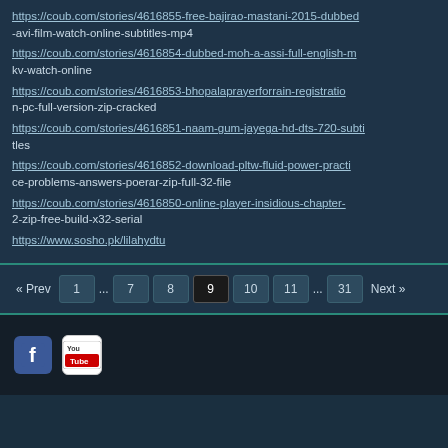https://coub.com/stories/4616855-free-bajirao-mastani-2015-dubbed-avi-film-watch-online-subtitles-mp4
https://coub.com/stories/4616854-dubbed-moh-a-assi-full-english-mkv-watch-online
https://coub.com/stories/4616853-bhopalaprayerforrain-registration-pc-full-version-zip-cracked
https://coub.com/stories/4616851-naam-gum-jayega-hd-dts-720-subtitles
https://coub.com/stories/4616852-download-pltw-fluid-power-practice-problems-answers-poerar-zip-full-32-file
https://coub.com/stories/4616850-online-player-insidious-chapter-2-zip-free-build-x32-serial
https://www.sosho.pk/lilahydtu
Social media icons: Facebook, YouTube